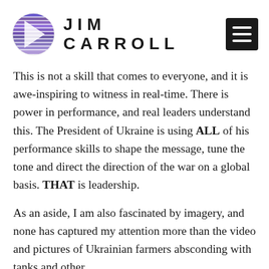JIM CARROLL
This is not a skill that comes to everyone, and it is awe-inspiring to witness in real-time. There is power in performance, and real leaders understand this. The President of Ukraine is using ALL of his performance skills to shape the message, tune the tone and direct the direction of the war on a global basis. THAT is leadership.
As an aside, I am also fascinated by imagery, and none has captured my attention more than the video and pictures of Ukrainian farmers absconding with tanks and other